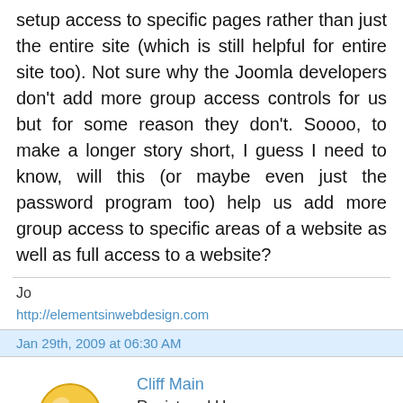setup access to specific pages rather than just the entire site (which is still helpful for entire site too). Not sure why the Joomla developers don't add more group access controls for us but for some reason they don't. Soooo, to make a longer story short, I guess I need to know, will this (or maybe even just the password program too) help us add more group access to specific areas of a website as well as full access to a website?
Jo
http://elementsinwebdesign.com
Jan 29th, 2009 at 06:30 AM
[Figure (illustration): Smiley face emoticon avatar inside a blue UFO/spaceship-shaped base, acting as a user forum avatar for Cliff Main]
Cliff Main
Registered User
2,138 posts